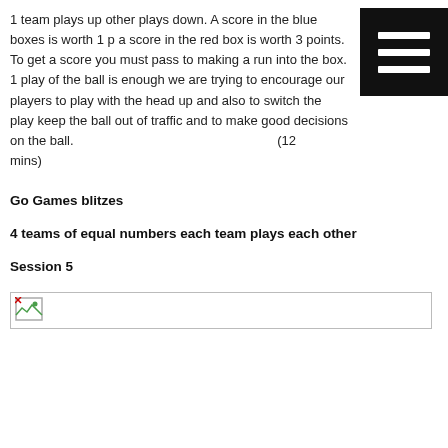1 team plays up other plays down. A score in the blue boxes is worth 1 p a score in the red box is worth 3 points. To get a score you must pass to making a run into the box. 1 play of the ball is enough we are trying to encourage our players to play with the head up and also to switch the play keep the ball out of traffic and to make good decisions on the ball. (12 mins)
Go Games blitzes
4 teams of equal numbers each team plays each other
Session 5
[Figure (other): Broken image placeholder showing a small image icon]